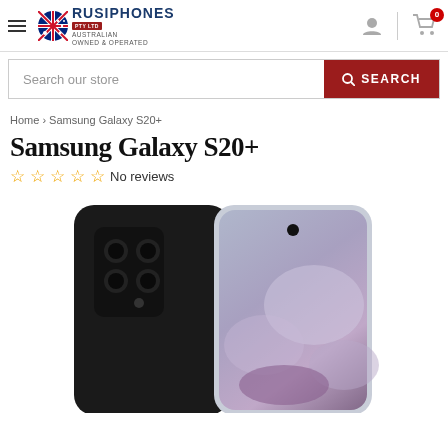Rusiphones PTY LTD — Australian Owned & Operated
Search our store
Home › Samsung Galaxy S20+
Samsung Galaxy S20+
☆☆☆☆☆ No reviews
[Figure (photo): Samsung Galaxy S20+ smartphone shown from the back (black, with quad camera module) and front (with edge screen displaying a landscape wallpaper), side by side]